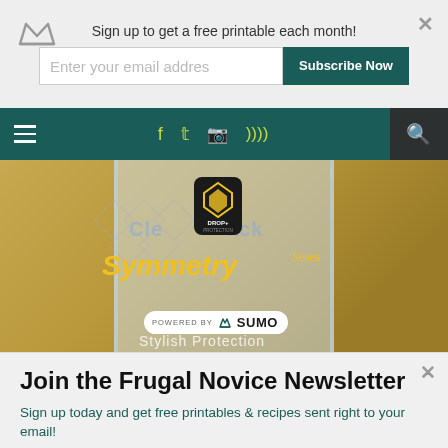Sign up to get a free printable each month!
[Figure (screenshot): Website navigation bar with hamburger menu, social icons (Facebook, Twitter, Instagram, RSS), and search icon on dark teal background]
[Figure (photo): OtterBox Symmetry Series Clear Back phone case product in plastic packaging on wooden surface, showing Symmetry Series branding in yellow text, Drop+ Protection badge, and POWERED BY SUMO badge]
Join the Frugal Novice Newsletter
Sign up today and get free printables & recipes sent right to your email!
Enter your email address
Subscribe Now